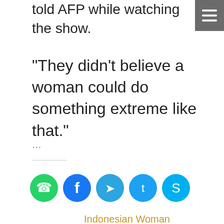told AFP while watching the show.
“They didn’t believe a woman could do something extreme like that.”
...
[Figure (infographic): Row of five social media sharing buttons: WhatsApp (green), Facebook (blue), Telegram (blue), Twitter (light blue), Skype (blue)]
Indonesian Woman Convicted of Recording Boss’ Sexual Advances